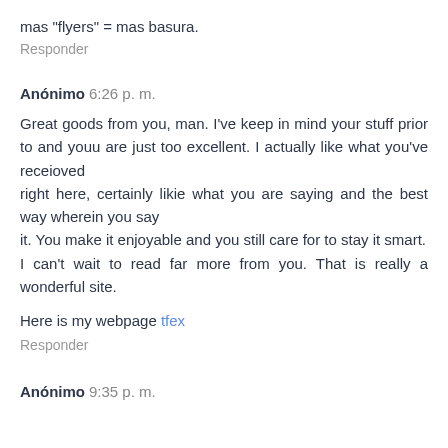mas "flyers" = mas basura.
Responder
Anónimo 6:26 p. m.
Great goods from you, man. I've keep in mind your stuff prior to and youu are just too excellent. I actually like what you've receioved
right here, certainly likie what you are saying and the best way wherein you say
it. You make it enjoyable and you still care for to stay it smart.
I can't wait to read far more from you. That is really a wonderful site.
Here is my webpage tfex
Responder
Anónimo 9:35 p. m.